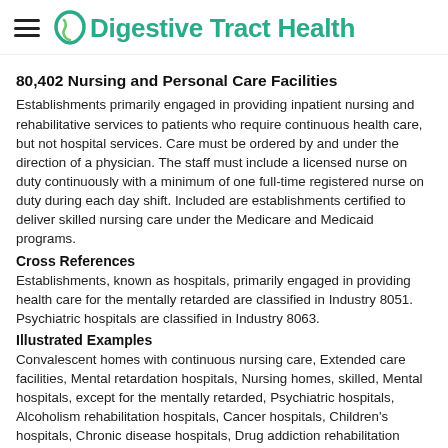Digestive Tract Health
80,402 Nursing and Personal Care Facilities
Establishments primarily engaged in providing inpatient nursing and rehabilitative services to patients who require continuous health care, but not hospital services. Care must be ordered by and under the direction of a physician. The staff must include a licensed nurse on duty continuously with a minimum of one full-time registered nurse on duty during each day shift. Included are establishments certified to deliver skilled nursing care under the Medicare and Medicaid programs.
Cross References
Establishments, known as hospitals, primarily engaged in providing health care for the mentally retarded are classified in Industry 8051. Psychiatric hospitals are classified in Industry 8063.
Illustrated Examples
Convalescent homes with continuous nursing care, Extended care facilities, Mental retardation hospitals, Nursing homes, skilled, Mental hospitals, except for the mentally retarded, Psychiatric hospitals, Alcoholism rehabilitation hospitals, Cancer hospitals, Children's hospitals, Chronic disease hospitals, Drug addiction rehabilitation hospitals, Eye, ear, nose, and throat hospitals, in-